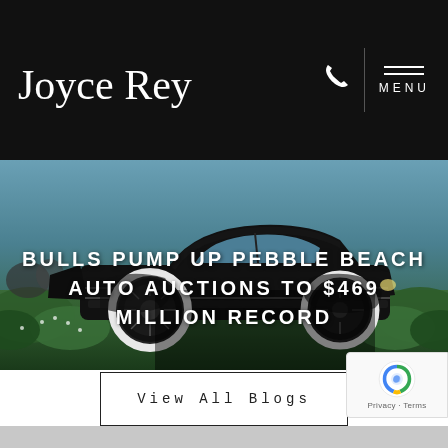Joyce Rey
[Figure (photo): Vintage black car with white wall tires at Pebble Beach, surrounded by green shrubbery and spectators in background. Dark luxury automobile side profile view.]
BULLS PUMP UP PEBBLE BEACH AUTO AUCTIONS TO $469 MILLION RECORD
View All Blogs